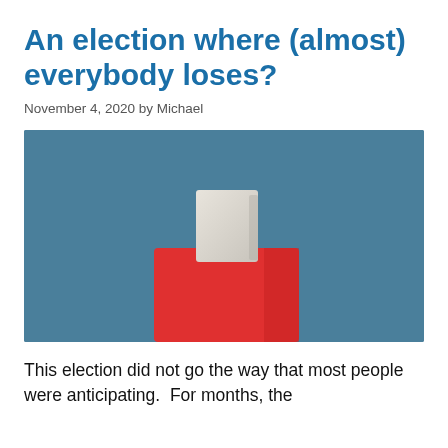An election where (almost) everybody loses?
November 4, 2020 by Michael
[Figure (illustration): A red ballot box with a slot at the top, showing a folded ballot paper being inserted, set against a teal/steel-blue background.]
This election did not go the way that most people were anticipating.  For months, the